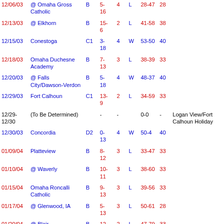| Date | Opponent | Class | Record | Quarter | W/L | Score | Points | Tournament |
| --- | --- | --- | --- | --- | --- | --- | --- | --- |
| 12/06/03 | @ Omaha Gross Catholic | B | 5-16 | 4 | L | 28-47 | 28 |  |
| 12/13/03 | @ Elkhorn | B | 15-6 | 2 | L | 41-58 | 38 |  |
| 12/15/03 | Conestoga | C1 | 3-18 | 4 | W | 53-50 | 40 |  |
| 12/18/03 | Omaha Duchesne Academy | B | 7-13 | 3 | L | 38-39 | 33 |  |
| 12/20/03 | @ Falls City/Dawson-Verdon | B | 5-18 | 4 | W | 48-37 | 40 |  |
| 12/29/03 | Fort Calhoun | C1 | 13-9 | 2 | L | 34-59 | 33 |  |
| 12/29-12/30 | (To Be Determined) |  | - | - |  | 0-0 | - | Logan View/Fort Calhoun Holiday |
| 12/30/03 | Concordia | D2 | 0-13 | 4 | W | 50-4 | 40 |  |
| 01/09/04 | Platteview | B | 8-12 | 3 | L | 33-47 | 33 |  |
| 01/10/04 | @ Waverly | B | 10-11 | 3 | L | 38-60 | 33 |  |
| 01/15/04 | Omaha Roncalli Catholic | B | 9-13 | 3 | L | 39-56 | 33 |  |
| 01/17/04 | @ Glenwood, IA | B | 5-13 | 3 | L | 50-61 | 28 |  |
| 01/20/04 | @ Blair | B | 12-10 | 2 | L | 47-79 | 33 |  |
| 01/26- | (To Be Determined) |  |  |  |  | 0-0 |  | Eastern Midlands W... |